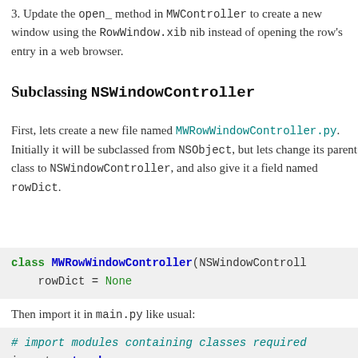3. Update the open_ method in MWController to create a new window using the RowWindow.xib nib instead of opening the row's entry in a web browser.
Subclassing NSWindowController
First, lets create a new file named MWRowWindowController.py. Initially it will be subclassed from NSObject, but lets change its parent class to NSWindowController, and also give it a field named rowDict.
class MWRowWindowController(NSWindowControl...
    rowDict = None
Then import it in main.py like usual:
# import modules containing classes required
import metaweb